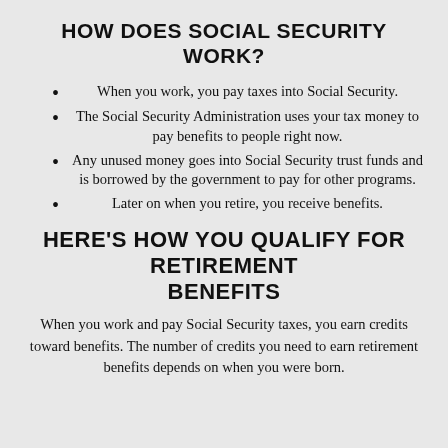HOW DOES SOCIAL SECURITY WORK?
When you work, you pay taxes into Social Security.
The Social Security Administration uses your tax money to pay benefits to people right now.
Any unused money goes into Social Security trust funds and is borrowed by the government to pay for other programs.
Later on when you retire, you receive benefits.
HERE'S HOW YOU QUALIFY FOR RETIREMENT BENEFITS
When you work and pay Social Security taxes, you earn credits toward benefits. The number of credits you need to earn retirement benefits depends on when you were born.